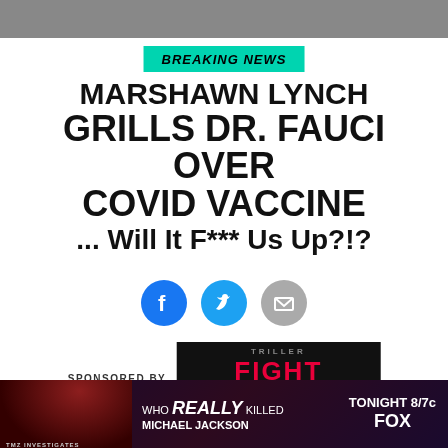[Figure (photo): Dark photo strip at top of page]
BREAKING NEWS
MARSHAWN LYNCH GRILLS DR. FAUCI OVER COVID VACCINE ... Will It F*** Us Up?!?
[Figure (infographic): Social media share icons: Facebook (blue circle), Twitter (blue circle), Email (gray circle)]
SPONSORED BY TRILLER FIGHT CLUB
4/16/2021  1:02  PM  PT
This is incredible — Marshawn Lynch joined a 30 minute ... he and
[Figure (infographic): TV advertisement banner: WHO REALLY KILLED MICHAEL JACKSON — TONIGHT 8/7c FOX]